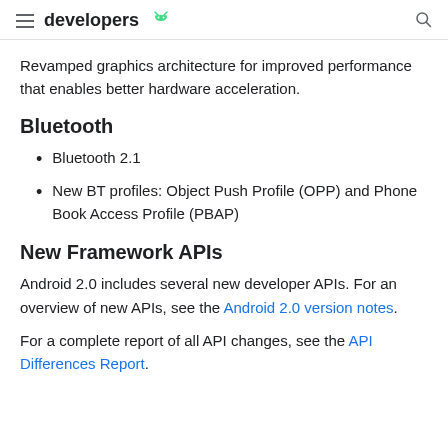developers
Revamped graphics architecture for improved performance that enables better hardware acceleration.
Bluetooth
Bluetooth 2.1
New BT profiles: Object Push Profile (OPP) and Phone Book Access Profile (PBAP)
New Framework APIs
Android 2.0 includes several new developer APIs. For an overview of new APIs, see the Android 2.0 version notes.
For a complete report of all API changes, see the API Differences Report.